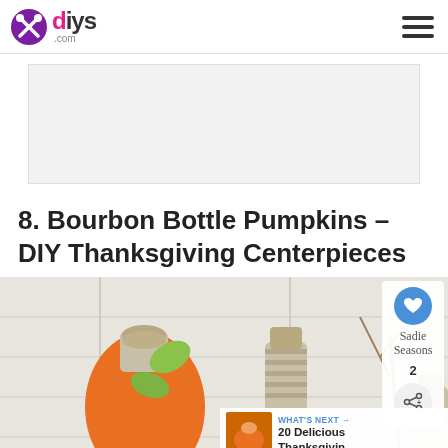diys.com
[Figure (other): Gray advertisement banner placeholder]
8. Bourbon Bottle Pumpkins – DIY Thanksgiving Centerpieces
[Figure (photo): Photo of bourbon bottles decorated as pumpkins with twine and orange paint with green leaf decorations, white wood background, 'Sadie Seasons' watermark, social share overlay with heart button showing count 2, and 'What's Next' bar showing '20 Delicious Thanksgivin...']